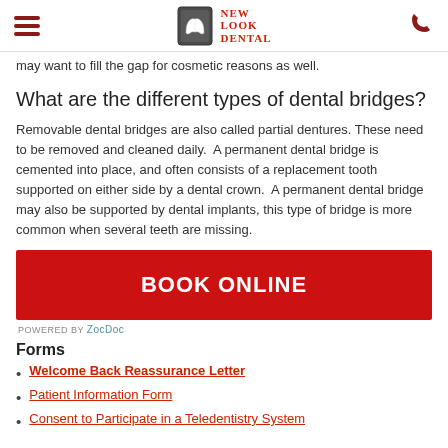New Look Dental
may want to fill the gap for cosmetic reasons as well.
What are the different types of dental bridges?
Removable dental bridges are also called partial dentures. These need to be removed and cleaned daily.  A permanent dental bridge is cemented into place, and often consists of a replacement tooth supported on either side by a dental crown.  A permanent dental bridge may also be supported by dental implants, this type of bridge is more common when several teeth are missing.
[Figure (other): Red BOOK ONLINE button powered by ZocDoc]
Forms
Welcome Back Reassurance Letter
Patient Information Form
Consent to Participate in a Teledentistry System